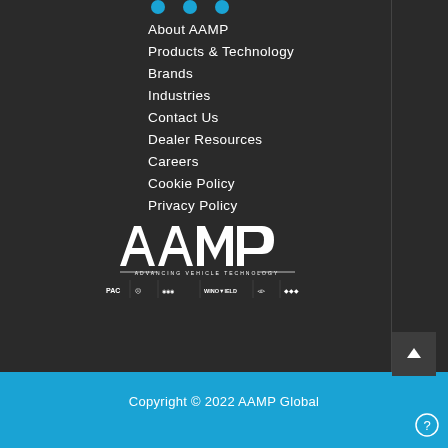[Figure (logo): Social media icons row (partially visible at top)]
About AAMP
Products & Technology
Brands
Industries
Contact Us
Dealer Resources
Careers
Cookie Policy
Privacy Policy
[Figure (logo): AAMP logo - Advancing Vehicle Technology]
[Figure (logo): Row of brand logos: PAC, and several other automotive brand logos]
Copyright © 2022 AAMP Global